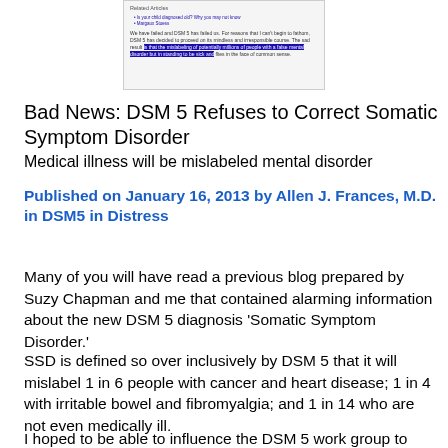[Figure (screenshot): Screenshot of a webpage showing 'Related Articles' sidebar links and highlighted body text about DSM 5 proceeding on a mindless and irresponsible course, with blue highlighted passage.]
Bad News: DSM 5 Refuses to Correct Somatic Symptom Disorder
Medical illness will be mislabeled mental disorder
Published on January 16, 2013 by Allen J. Frances, M.D. in DSM5 in Distress
Many of you will have read a previous blog prepared by Suzy Chapman and me that contained alarming information about the new DSM 5 diagnosis 'Somatic Symptom Disorder.'
SSD is defined so over inclusively by DSM 5 that it will mislabel 1 in 6 people with cancer and heart disease; 1 in 4 with irritable bowel and fibromyalgia; and 1 in 14 who are not even medically ill.
I hoped to be able to influence the DSM 5 work group to correct this in two ways: 1) by suggesting improvements in